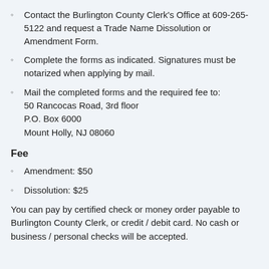Contact the Burlington County Clerk's Office at 609-265-5122 and request a Trade Name Dissolution or Amendment Form.
Complete the forms as indicated. Signatures must be notarized when applying by mail.
Mail the completed forms and the required fee to:
50 Rancocas Road, 3rd floor
P.O. Box 6000
Mount Holly, NJ 08060
Fee
Amendment: $50
Dissolution: $25
You can pay by certified check or money order payable to Burlington County Clerk, or credit / debit card. No cash or business / personal checks will be accepted.